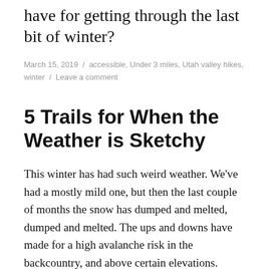have for getting through the last bit of winter?
March 15, 2019  /  accessible, Under 3 miles, Utah valley hikes, winter  /  Leave a comment
5 Trails for When the Weather is Sketchy
This winter has had such weird weather. We've had a mostly mild one, but then the last couple of months the snow has dumped and melted, dumped and melted. The ups and downs have made for a high avalanche risk in the backcountry, and above certain elevations.